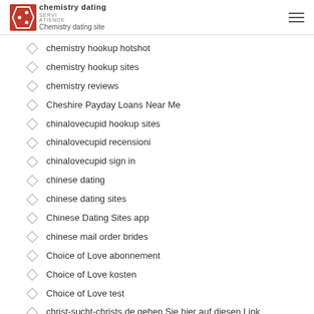chemistry dating | Chemistry dating site
chemistry hookup hotshot
chemistry hookup sites
chemistry reviews
Cheshire Payday Loans Near Me
chinalovecupid hookup sites
chinalovecupid recensioni
chinalovecupid sign in
chinese dating
chinese dating sites
Chinese Dating Sites app
chinese mail order brides
Choice of Love abonnement
Choice of Love kosten
Choice of Love test
christ-sucht-christs.de gehen Sie hier auf diesen Link